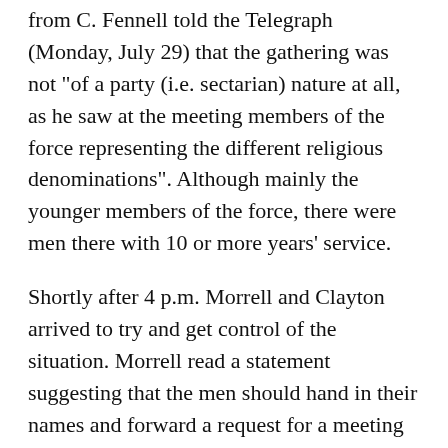from C. Fennell told the Telegraph (Monday, July 29) that the gathering was not "of a party (i.e. sectarian) nature at all, as he saw at the meeting members of the force representing the different religious denominations". Although mainly the younger members of the force, there were men there with 10 or more years' service.
Shortly after 4 p.m. Morrell and Clayton arrived to try and get control of the situation. Morrell read a statement suggesting that the men should hand in their names and forward a request for a meeting to the Inspector General. At this stage he was loudly jeered and the officers departed in some haste.
Barrett then spoke, he announced his suspension that morning, but he clearly feared that the situation was getting out of hand. He told the men "all I just ask you